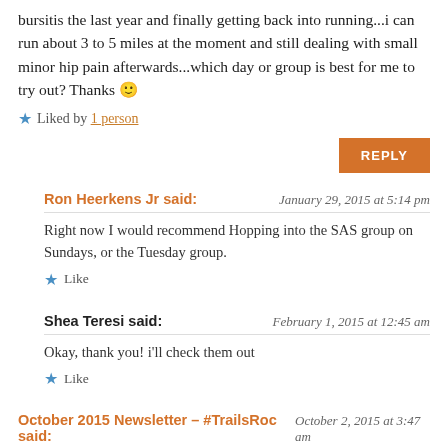bursitis the last year and finally getting back into running...i can run about 3 to 5 miles at the moment and still dealing with small minor hip pain afterwards...which day or group is best for me to try out? Thanks 🙂
★ Liked by 1 person
REPLY
Ron Heerkens Jr said: January 29, 2015 at 5:14 pm
Right now I would recommend Hopping into the SAS group on Sundays, or the Tuesday group.
★ Like
Shea Teresi said: February 1, 2015 at 12:45 am
Okay, thank you! i'll check them out
★ Like
October 2015 Newsletter – #TrailsRoc said: October 2, 2015 at 3:47 am
[...] Tuesday Trail Trots [...]